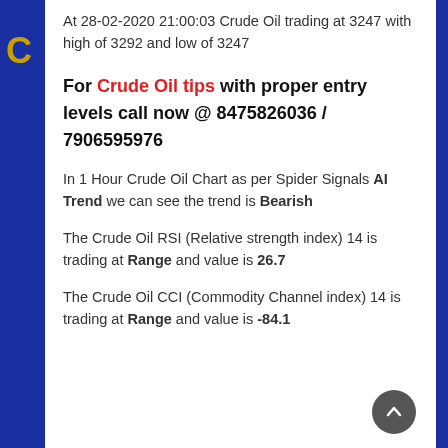At 28-02-2020 21:00:03 Crude Oil trading at 3247 with high of 3292 and low of 3247
For Crude Oil tips with proper entry levels call now @ 8475826036 / 7906595976
In 1 Hour Crude Oil Chart as per Spider Signals AI Trend we can see the trend is Bearish
The Crude Oil RSI (Relative strength index) 14 is trading at Range and value is 26.7
The Crude Oil CCI (Commodity Channel index) 14 is trading at Range and value is -84.1